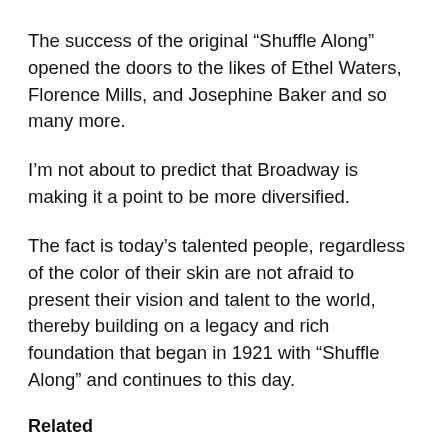The success of the original “Shuffle Along” opened the doors to the likes of Ethel Waters, Florence Mills, and Josephine Baker and so many more.
I’m not about to predict that Broadway is making it a point to be more diversified.
The fact is today’s talented people, regardless of the color of their skin are not afraid to present their vision and talent to the world, thereby building on a legacy and rich foundation that began in 1921 with “Shuffle Along” and continues to this day.
Related